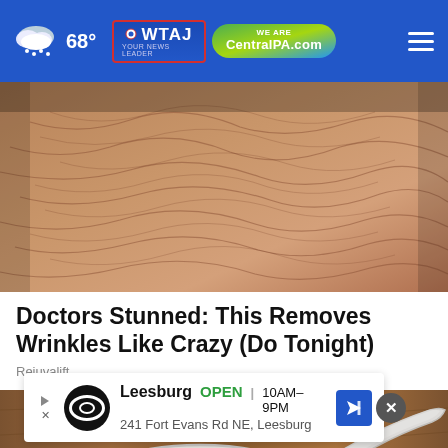68° WTAJ CentralPA.com
[Figure (photo): Close-up of heavily wrinkled skin, beige/tan tones, texture detail visible]
Doctors Stunned: This Removes Wrinkles Like Crazy (Do Tonight)
Rejuvalift
[Figure (photo): A white plastic scoop/measuring spoon filled with white powder on a wooden surface]
Leesburg OPEN 10AM–9PM 241 Fort Evans Rd NE, Leesburg